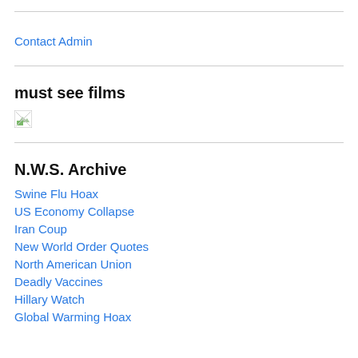Contact Admin
must see films
[Figure (other): Broken image placeholder icon (small image with green landscape thumbnail)]
N.W.S. Archive
Swine Flu Hoax
US Economy Collapse
Iran Coup
New World Order Quotes
North American Union
Deadly Vaccines
Hillary Watch
Global Warming Hoax